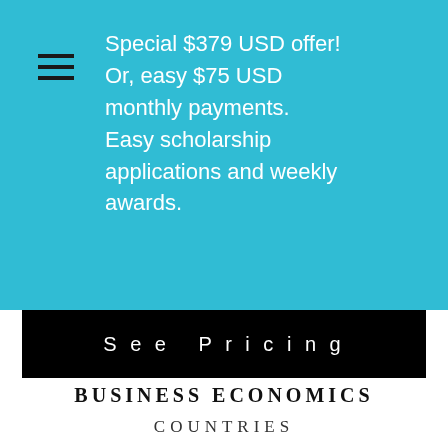Special $379 USD offer! Or, easy $75 USD monthly payments. Easy scholarship applications and weekly awards.
See Pricing
BUSINESS ECONOMICS
COUNTRIES
PES+™ certification  One Level